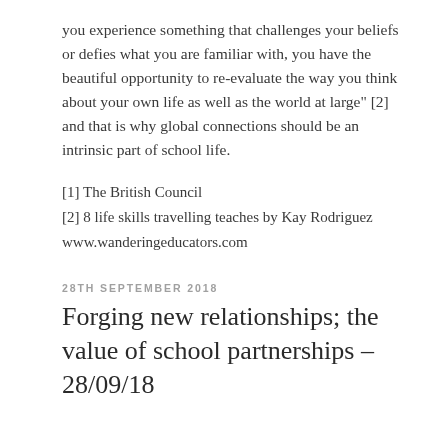you experience something that challenges your beliefs or defies what you are familiar with, you have the beautiful opportunity to re-evaluate the way you think about your own life as well as the world at large" [2] and that is why global connections should be an intrinsic part of school life.
[1] The British Council
[2] 8 life skills travelling teaches by Kay Rodriguez
www.wanderingeducators.com
28TH SEPTEMBER 2018
Forging new relationships; the value of school partnerships – 28/09/18